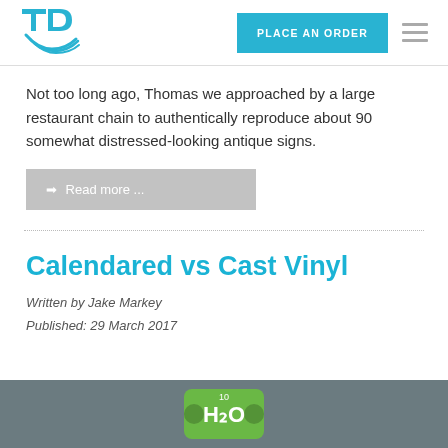PLACE AN ORDER
Not too long ago, Thomas we approached by a large restaurant chain to authentically reproduce about 90 somewhat distressed-looking antique signs.
Read more ...
Calendared vs Cast Vinyl
Written by Jake Markey
Published: 29 March 2017
[Figure (photo): Dark grey background image strip with circular logo badge visible at bottom of page]